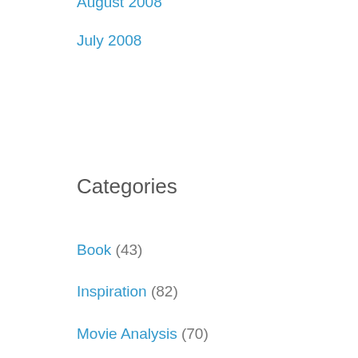August 2008
July 2008
Categories
Book (43)
Inspiration (82)
Movie Analysis (70)
Software (11)
Story Structure (1,282)
Uncategorized (13)
WordPress
Log in
WordPress